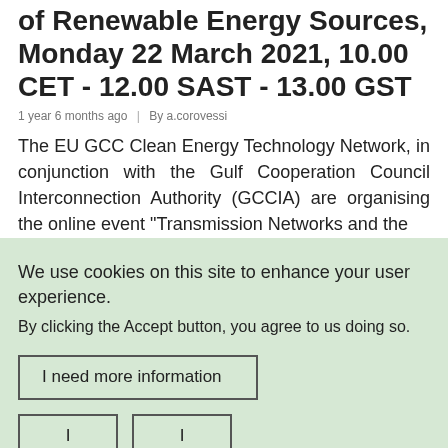of Renewable Energy Sources, Monday 22 March 2021, 10.00 CET - 12.00 SAST - 13.00 GST
1 year 6 months ago  |  By a.corovessi
The EU GCC Clean Energy Technology Network, in conjunction with the Gulf Cooperation Council Interconnection Authority (GCCIA) are organising the online event "Transmission Networks and the
We use cookies on this site to enhance your user experience
By clicking the Accept button, you agree to us doing so.
I need more information
I agree
I disagree